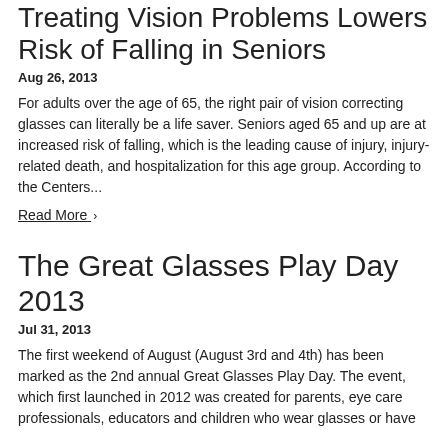Treating Vision Problems Lowers Risk of Falling in Seniors
Aug 26, 2013
For adults over the age of 65, the right pair of vision correcting glasses can literally be a life saver. Seniors aged 65 and up are at increased risk of falling, which is the leading cause of injury, injury-related death, and hospitalization for this age group. According to the Centers...
Read More ›
The Great Glasses Play Day 2013
Jul 31, 2013
The first weekend of August (August 3rd and 4th) has been marked as the 2nd annual Great Glasses Play Day. The event, which first launched in 2012 was created for parents, eye care professionals, educators and children who wear glasses or have